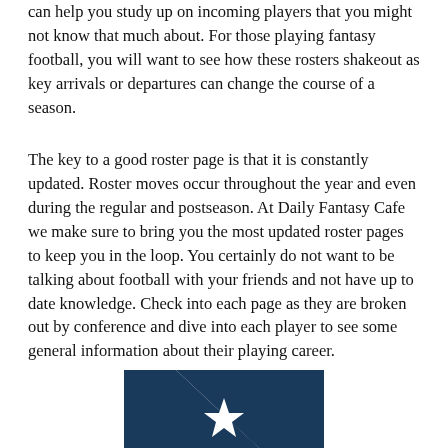can help you study up on incoming players that you might not know that much about. For those playing fantasy football, you will want to see how these rosters shakeout as key arrivals or departures can change the course of a season.
The key to a good roster page is that it is constantly updated. Roster moves occur throughout the year and even during the regular and postseason. At Daily Fantasy Cafe we make sure to bring you the most updated roster pages to keep you in the loop. You certainly do not want to be talking about football with your friends and not have up to date knowledge. Check into each page as they are broken out by conference and dive into each player to see some general information about their playing career.
[Figure (logo): NFL logo — dark navy blue letter N with a white star in the center, partial view cropped at the bottom of the page]